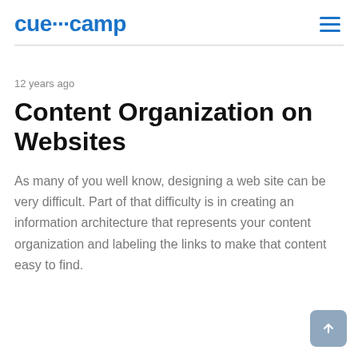cuecamp
12 years ago
Content Organization on Websites
As many of you well know, designing a web site can be very difficult. Part of that difficulty is in creating an information architecture that represents your content organization and labeling the links to make that content easy to find.